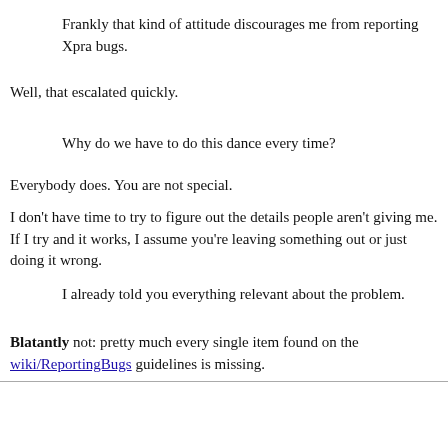Frankly that kind of attitude discourages me from reporting Xpra bugs.
Well, that escalated quickly.
Why do we have to do this dance every time?
Everybody does. You are not special.
I don't have time to try to figure out the details people aren't giving me. If I try and it works, I assume you're leaving something out or just doing it wrong.
I already told you everything relevant about the problem.
Blatantly not: pretty much every single item found on the wiki/ReportingBugs guidelines is missing.